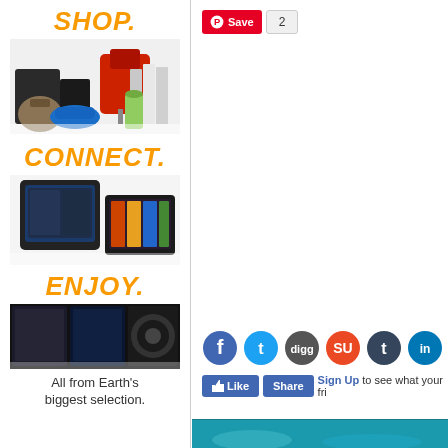[Figure (advertisement): Amazon advertisement with SHOP. heading in orange, product images (gaming console, mixer, bag, shoes, books), CONNECT. heading with Kindle tablets, ENJOY. heading with movie images, and 'All from Earth's biggest selection.' text]
[Figure (infographic): Pinterest Save button with count of 2, social media icons (Facebook, Twitter, Digg, StumbleUpon, Tumblr, LinkedIn, and more), Facebook Like and Share buttons with Sign Up prompt, and a bottom image strip in blue/teal]